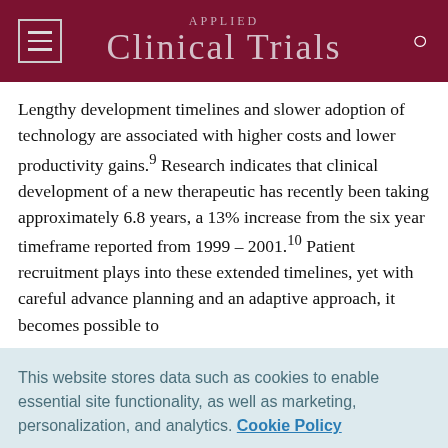Applied Clinical Trials
Lengthy development timelines and slower adoption of technology are associated with higher costs and lower productivity gains.9 Research indicates that clinical development of a new therapeutic has recently been taking approximately 6.8 years, a 13% increase from the six year timeframe reported from 1999 – 2001.10 Patient recruitment plays into these extended timelines, yet with careful advance planning and an adaptive approach, it becomes possible to
This website stores data such as cookies to enable essential site functionality, as well as marketing, personalization, and analytics. Cookie Policy
Accept
Deny